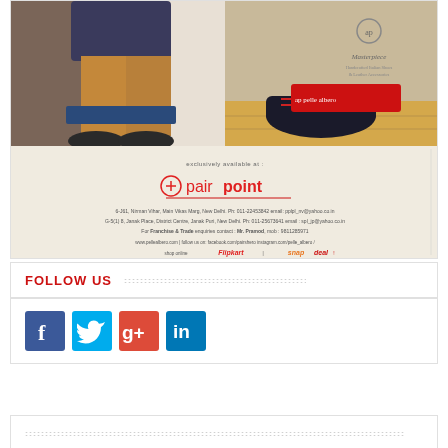[Figure (illustration): Advertisement for 'pelle albero' Handcrafted Italian Shoes & Leather Accessories. Top half shows a person sitting wearing brown trousers and dark shoes (left panel) and a dark shoe on a wooden surface with the pelle albero logo (right panel). Bottom half on beige background shows 'exclusively available at: pairpoint' with address, contact details, website, and social media links including Flipkart and Snapdeal.]
FOLLOW US
[Figure (infographic): Row of four social media icon buttons: Facebook (blue), Twitter (light blue), Google+ (red), LinkedIn (dark blue)]